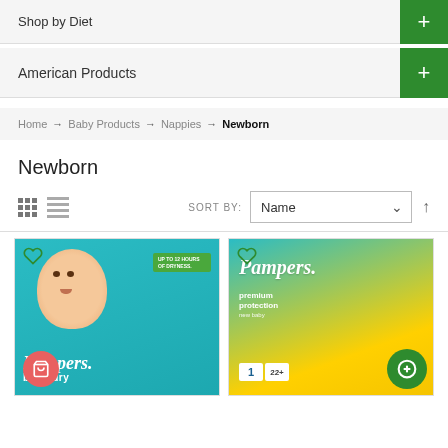Shop by Diet
American Products
Home → Baby Products → Nappies → Newborn
Newborn
SORT BY: Name
[Figure (screenshot): Two Pampers nappy product cards: left shows Pampers baby-dry teal packaging with a baby photo; right shows Pampers premium protection yellow/teal packaging. Each card has a heart wishlist icon and an add-to-basket button.]